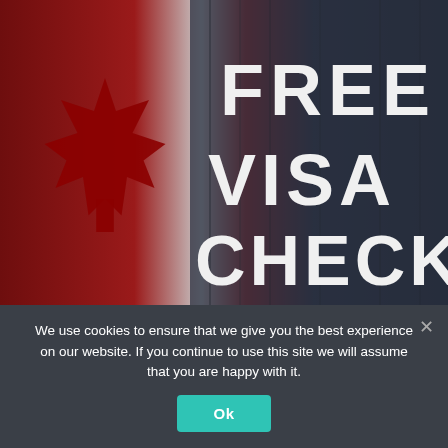[Figure (illustration): Canadian flag (red maple leaf on white and red background) on the left, dark navy/slate textured background on the right, with large bold white uppercase text reading FREE VISA CHECK overlaid on the dark side]
We use cookies to ensure that we give you the best experience on our website. If you continue to use this site we will assume that you are happy with it.
Ok